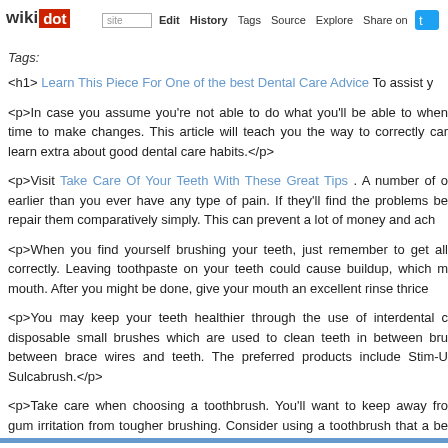wikidot | site | Edit | History | Tags | Source | Explore | Share on [Twitter]
Tags:
<h1> Learn This Piece For One of the best Dental Care Advice To assist y
<p>In case you assume you're not able to do what you'll be able to when time to make changes. This article will teach you the way to correctly car learn extra about good dental care habits.</p>
<p>Visit Take Care Of Your Teeth With These Great Tips . A number of o earlier than you ever have any type of pain. If they'll find the problems be repair them comparatively simply. This can prevent a lot of money and ach
<p>When you find yourself brushing your teeth, just remember to get all correctly. Leaving toothpaste on your teeth could cause buildup, which m mouth. After you might be done, give your mouth an excellent rinse thrice
<p>You may keep your teeth healthier through the use of interdental c disposable small brushes which are used to clean teeth in between bru between brace wires and teeth. The preferred products include Stim-U Sulcabrush.</p>
<p>Take care when choosing a toothbrush. You'll want to keep away fro gum irritation from tougher brushing. Consider using a toothbrush that a be of nice use when you've got had the occasion to drink beverages that s
<p>Do not assume that each one dental floss is the same. There are flossing a little less unpleasant and help along with your breath too. If yo teeth, get a bag of plastic flossers which are small handles already strung